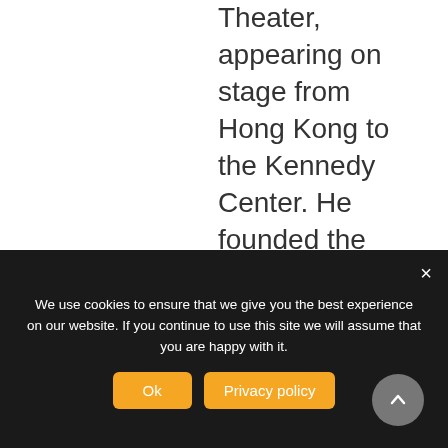Theater, appearing on stage from Hong Kong to the Kennedy Center. He founded the Ballroom Dance Program at New York University, where he served as director and instructor in the program until 1994. Danny has also performed in diverse
We use cookies to ensure that we give you the best experience on our website. If you continue to use this site we will assume that you are happy with it.